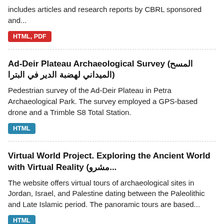includes articles and research reports by CBRL sponsored and...
HTML, PDF
Ad-Deir Plateau Archaeological Survey (المسح الميداني لهضبة الدير في البترا)
Pedestrian survey of the Ad-Deir Plateau in Petra Archaeological Park. The survey employed a GPS-based drone and a Trimble S8 Total Station.
HTML
Virtual World Project. Exploring the Ancient World with Virtual Reality (مشرو...
The website offers virtual tours of archaeological sites in Jordan, Israel, and Palestine dating between the Paleolithic and Late Islamic period. The panoramic tours are based...
HTML